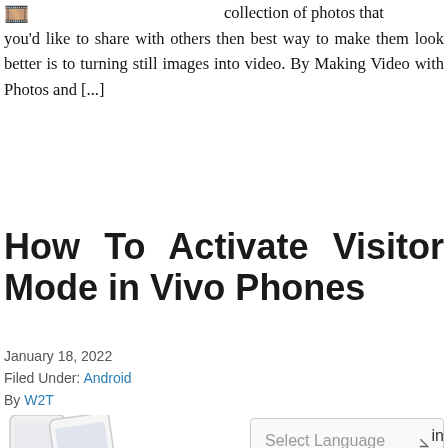[Figure (illustration): Small film/photo icon in top left corner]
collection of photos that you'd like to share with others then best way to make them look better is to turning still images into video. By Making Video with Photos and [...]
How To Activate Visitor Mode in Vivo Phones
January 18, 2022
Filed Under: Android
By W2T
[Figure (photo): White Vivo smartphone shown from front at bottom left]
Select Language